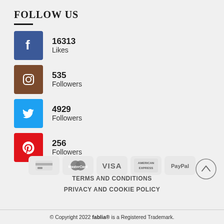FOLLOW US
16313 Likes (Facebook)
535 Followers (Instagram)
4929 Followers (Twitter)
256 Followers (Pinterest)
[Figure (logo): Payment method icons: generic card, MasterCard, VISA, American Express, PayPal]
TERMS AND CONDITIONS
PRIVACY AND COOKIE POLICY
© Copyright 2022 fablia® is a Registered Trademark.